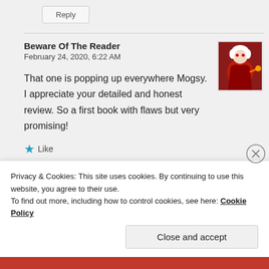Reply
Beware Of The Reader
February 24, 2020, 6:22 AM
That one is popping up everywhere Mogsy. I appreciate your detailed and honest review. So a first book with flaws but very promising!
Like
Reply
Privacy & Cookies: This site uses cookies. By continuing to use this website, you agree to their use.
To find out more, including how to control cookies, see here: Cookie Policy
Close and accept